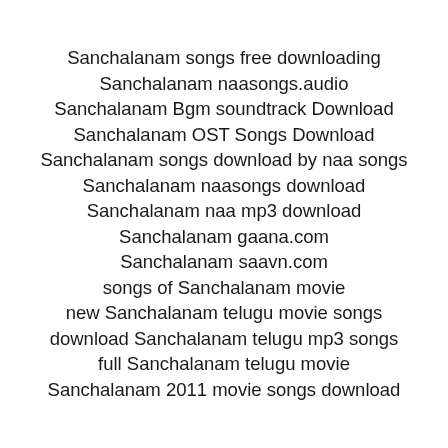Sanchalanam songs free downloading
Sanchalanam naasongs.audio
Sanchalanam Bgm soundtrack Download
Sanchalanam OST Songs Download
Sanchalanam songs download by naa songs
Sanchalanam naasongs download
Sanchalanam naa mp3 download
Sanchalanam gaana.com
Sanchalanam saavn.com
songs of Sanchalanam movie
new Sanchalanam telugu movie songs
download Sanchalanam telugu mp3 songs
full Sanchalanam telugu movie
Sanchalanam 2011 movie songs download